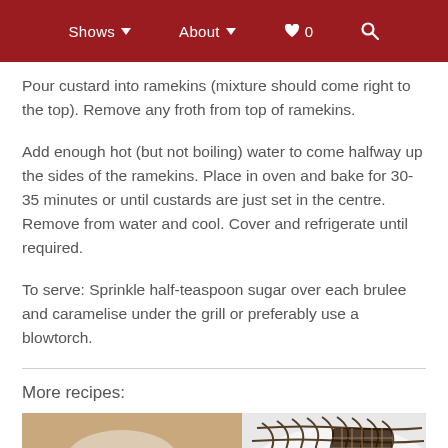Shows  About  ♥ 0  🔍
Pour custard into ramekins (mixture should come right to the top). Remove any froth from top of ramekins.
Add enough hot (but not boiling) water to come halfway up the sides of the ramekins. Place in oven and bake for 30-35 minutes or until custards are just set in the centre. Remove from water and cool. Cover and refrigerate until required.
To serve: Sprinkle half-teaspoon sugar over each brulee and caramelise under the grill or preferably use a blowtorch.
More recipes:
[Figure (photo): Partial view of a dessert dish with chocolate drizzle on a white plate with beige background]